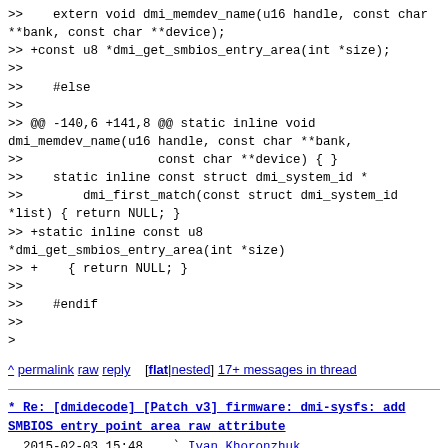>> extern void dmi_memdev_name(u16 handle, const char **bank, const char **device);
>> +const u8 *dmi_get_smbios_entry_area(int *size);
>>
>>     #else
>>
>> @@ -140,6 +141,8 @@ static inline void dmi_memdev_name(u16 handle, const char **bank,
>>                  const char **device) { }
>>     static inline const struct dmi_system_id *
>>         dmi_first_match(const struct dmi_system_id *list) { return NULL; }
>> +static inline const u8 *dmi_get_smbios_entry_area(int *size)
>> +    { return NULL; }
>>
>>     #endif
>>
>
^ permalink raw reply [flat|nested] 17+ messages in thread
* Re: [dmidecode] [Patch v3] firmware: dmi-sysfs: add SMBIOS entry point area raw attribute
  2015-02-03 15:48  ` Ivan Khoronzhuk
@ 2015-02-26  8:50    ` Jean Delvare
  2015-02-26  9:41      ` Jean Delvare